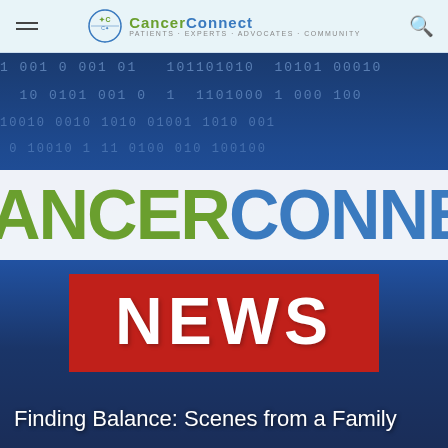CancerConnect - Patients · Experts · Advocates · Community
[Figure (screenshot): CancerConnect News banner with blue digital binary-code background, CancerConnect logo in green and blue, and a red NEWS box below]
Finding Balance: Scenes from a Family